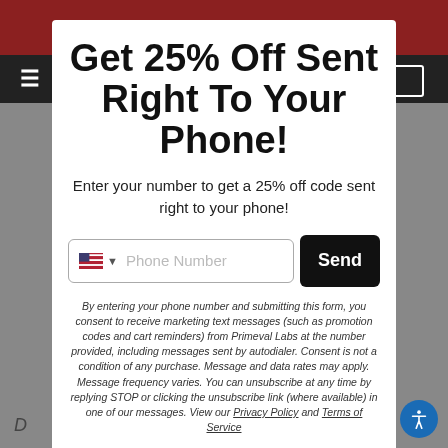Get 25% Off Sent Right To Your Phone!
Enter your number to get a 25% off code sent right to your phone!
Phone Number | Send
By entering your phone number and submitting this form, you consent to receive marketing text messages (such as promotion codes and cart reminders) from Primeval Labs at the number provided, including messages sent by autodialer. Consent is not a condition of any purchase. Message and data rates may apply. Message frequency varies. You can unsubscribe at any time by replying STOP or clicking the unsubscribe link (where available) in one of our messages. View our Privacy Policy and Terms of Service